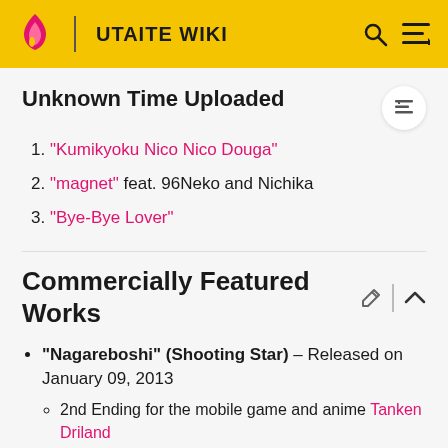UTAITE WIKI
Unknown Time Uploaded
"Kumikyoku Nico Nico Douga"
"magnet" feat. 96Neko and Nichika
"Bye-Bye Lover"
Commercially Featured Works
"Nagareboshi" (Shooting Star) – Released on January 09, 2013
  ◦ 2nd Ending for the mobile game and anime Tanken Driland